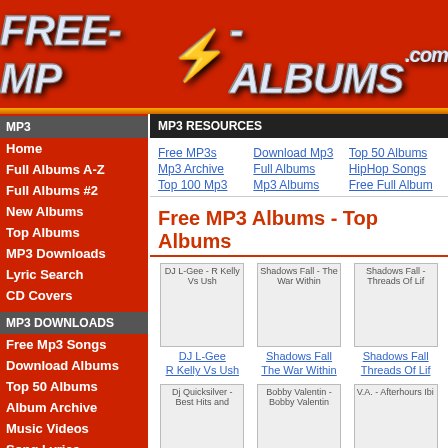[Figure (logo): FREE-MP3-ALBUMS.com logo on red background with lightning bolt]
MP3
Home
Full Albums A-Z
Full Albums #2
New Albums
Top Albums
MP3 Downloads
Lyric Search
CD Covers
MP3 DOWNLOADS
Free Mp3 Songs
Download Albums
Top 50 Albums
Album Archive
Music Videos
Song Lyrics
TOP ARTISTS
Black Eyed Peas
Pussycat Dolls
Green Day
James Blunt
Kelly Clarkson
Mariah Carey
MP3 RESOURCES
Free MP3s | Download Mp3 | Top 50 Albums | Mp3 Archive | Full Albums | HipHop Songs | Top 100 Mp3 | Mp3 Albums | Free Full Albums
Free MP3 Albums - Top Albums
[Figure (photo): DJ L-Gee - R Kelly Vs Ush album cover]
DJ L-Gee
R Kelly Vs Ush
[Figure (photo): Shadows Fall - The War Within album cover]
Shadows Fall
The War Within
[Figure (photo): Shadows Fall - Threads Of Life album cover]
Shadows Fall
Threads Of Lif
[Figure (photo): Dj Quicksilver - Best Hits and album cover]
[Figure (photo): Bobby Valentin - Bobby Valentin album cover]
[Figure (photo): V.A. - Afterhours Ibi album cover]